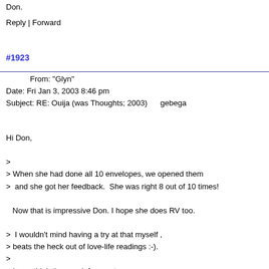Don.
Reply | Forward
#1923
From: "Glyn"
Date: Fri Jan 3, 2003 8:46 pm
Subject: RE: Ouija (was Thoughts; 2003)      gebega
Hi Don,

>
> When she had done all 10 envelopes, we opened them
>  and she got her feedback.  She was right 8 out of 10 times!

   Now that is impressive Don. I hope she does RV too.

>  I wouldn't mind having a try at that myself ,
> beats the heck out of love-life readings :-).
>
> I now think they work for most
> people as you described - they sort of give the
> reader something to occupy the conscious mind
> long enough for the subconscious to pass information